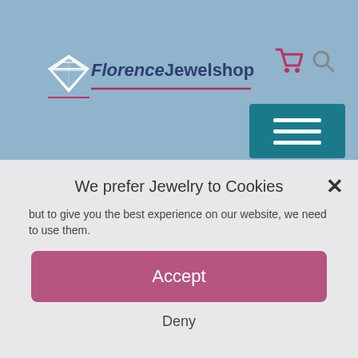[Figure (logo): Florence Jewelshop logo with diamond shape and red/maroon underline]
birthstones and the amethyst is in there, among a lot of other gemstones. Just let me know where to send it too and I personally take care that you get it.
We prefer Jewelry to Cookies
but to give you the best experience on our website, we need to use them.
Accept
Deny